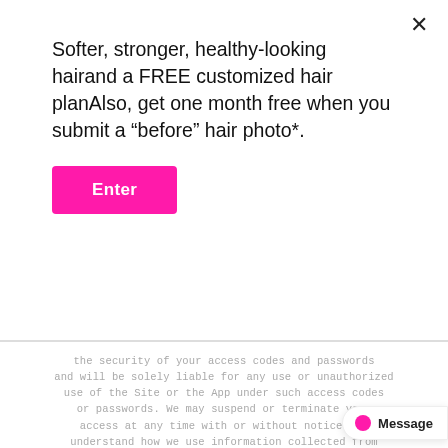Softer, stronger, healthy-looking hairand a FREE customized hair planAlso, get one month free when you submit a "before" hair photo*.
Enter
the security of your access codes and passwords and will be solely liable for any use or unauthorized use of the Site or the App under such access codes or passwords. We may suspend or terminate your access at any time with or without notice. To understand how we use information collected from you, please read our Privacy Policy.
3. Additional Terms and Conditions
You agree that additional terms and conditions may apply to specific products, orders or your use of certain portions of the Site or the App, including with respect to ordering, shipping and return policies, review guidelines and members programs (including the Rewards Program Terms)